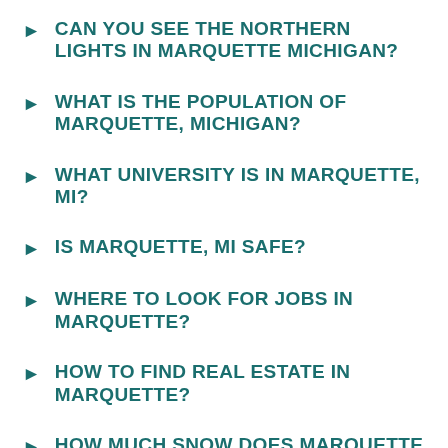CAN YOU SEE THE NORTHERN LIGHTS IN MARQUETTE MICHIGAN?
WHAT IS THE POPULATION OF MARQUETTE, MICHIGAN?
WHAT UNIVERSITY IS IN MARQUETTE, MI?
IS MARQUETTE, MI SAFE?
WHERE TO LOOK FOR JOBS IN MARQUETTE?
HOW TO FIND REAL ESTATE IN MARQUETTE?
HOW MUCH SNOW DOES MARQUETTE MICHIGAN GET?